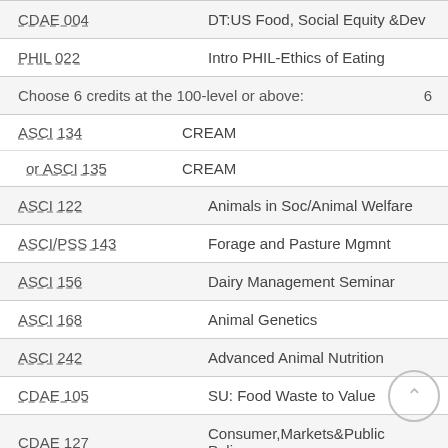| Course | Title | Credits |
| --- | --- | --- |
| CDAE 004 | DT:US Food, Social Equity &Dev |  |
| PHIL 022 | Intro PHIL-Ethics of Eating |  |
| Choose 6 credits at the 100-level or above: |  | 6 |
| ASCI 134 / or ASCI 135 | CREAM / CREAM |  |
| ASCI 122 | Animals in Soc/Animal Welfare |  |
| ASCI/PSS 143 | Forage and Pasture Mgmnt |  |
| ASCI 156 | Dairy Management Seminar |  |
| ASCI 168 | Animal Genetics |  |
| ASCI 242 | Advanced Animal Nutrition |  |
| CDAE 105 | SU: Food Waste to Value |  |
| CDAE 127 | Consumer,Markets&Public Policy |  |